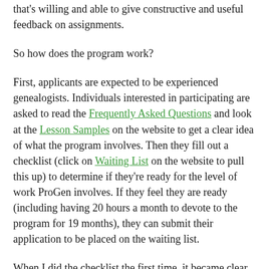that's willing and able to give constructive and useful feedback on assignments.
So how does the program work?
First, applicants are expected to be experienced genealogists. Individuals interested in participating are asked to read the Frequently Asked Questions and look at the Lesson Samples on the website to get a clear idea of what the program involves. Then they fill out a checklist (click on Waiting List on the website to pull this up) to determine if they're ready for the level of work ProGen involves. If they feel they are ready (including having 20 hours a month to devote to the program for 19 months), they can submit their application to be placed on the waiting list.
When I did the checklist the first time, it became clear to me that I did not have as much experience researching in repositories as was expected. So I set about remedying that...